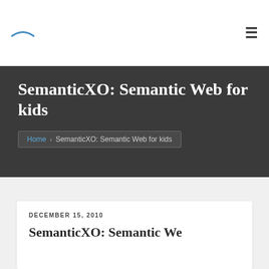SemanticXO: Semantic Web for kids
SemanticXO: Semantic Web for kids
Home › SemanticXO: Semantic Web for kids
DECEMBER 15, 2010
SemanticXO: Semantic We…